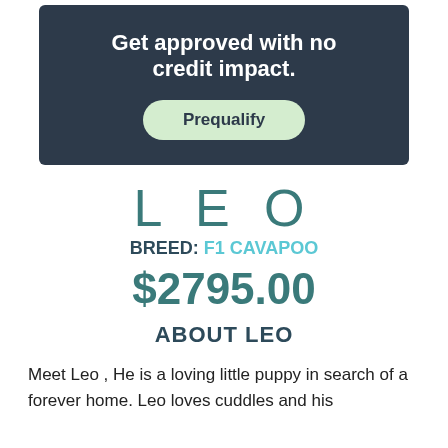[Figure (infographic): Dark navy banner with text 'Get approved with no credit impact.' and a light green Prequalify button]
LEO
BREED: F1 CAVAPOO
$2795.00
ABOUT LEO
Meet Leo , He is a loving little puppy in search of a forever home. Leo loves cuddles and his